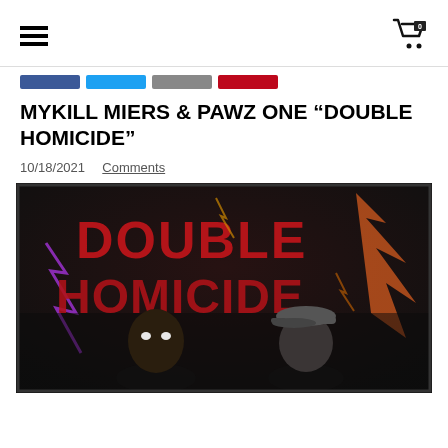Navigation header with hamburger menu and cart icon (0 items)
MYKILL MIERS & PAWZ ONE “DOUBLE HOMICIDE”
10/18/2021  Comments
[Figure (illustration): Album cover artwork for 'Double Homicide' by Mykill Miers & Pawz One. Dark graphic illustration showing two animated characters (one with glowing eyes looking up, one wearing a cap) against a dramatic background with large red text reading 'DOUBLE HOMICIDE', lightning bolts, and orange/purple lightning effects.]